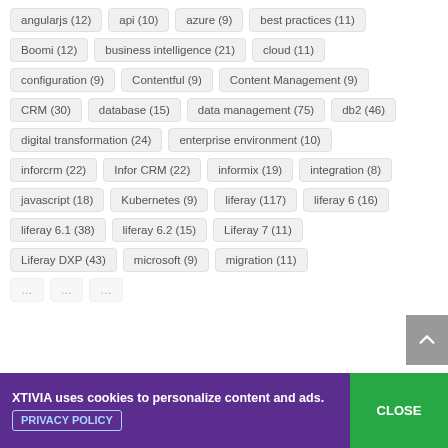angularjs (12)
api (10)
azure (9)
best practices (11)
Boomi (12)
business intelligence (21)
cloud (11)
configuration (9)
Contentful (9)
Content Management (9)
CRM (30)
database (15)
data management (75)
db2 (46)
digital transformation (24)
enterprise environment (10)
inforcrm (22)
Infor CRM (22)
informix (19)
integration (8)
javascript (18)
Kubernetes (9)
liferay (117)
liferay 6 (16)
liferay 6.1 (38)
liferay 6.2 (15)
Liferay 7 (11)
Liferay DXP (43)
microsoft (9)
migration (11)
Accept and Close ×
XTIVIA uses cookies to personalize content and ads.
CLOSE
PRIVACY POLICY